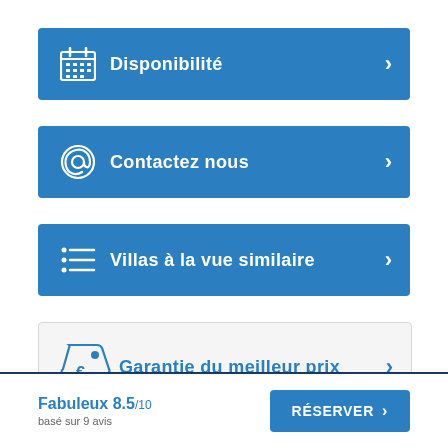[Figure (infographic): Blue button with calendar icon and text 'Disponibilité' with chevron arrow]
[Figure (infographic): Blue button with @ icon and text 'Contactez nous' with chevron arrow]
[Figure (infographic): Blue button with list icon and text 'Villas à la vue similaire' with chevron arrow]
[Figure (infographic): Light grey button with price tag euro icon and text 'Garantie du meilleur prix' with chevron arrow]
Fabuleux 8.5/10 basé sur 9 avis
RÉSERVER